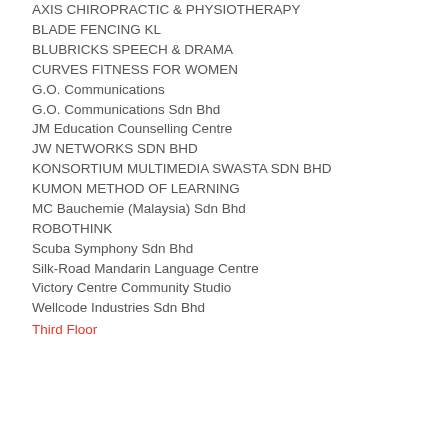AXIS CHIROPRACTIC & PHYSIOTHERAPY
BLADE FENCING KL
BLUBRICKS SPEECH & DRAMA
CURVES FITNESS FOR WOMEN
G.O. Communications
G.O. Communications Sdn Bhd
JM Education Counselling Centre
JW NETWORKS SDN BHD
KONSORTIUM MULTIMEDIA SWASTA SDN BHD
KUMON METHOD OF LEARNING
MC Bauchemie (Malaysia) Sdn Bhd
ROBOTHINK
Scuba Symphony Sdn Bhd
Silk-Road Mandarin Language Centre
Victory Centre Community Studio
Wellcode Industries Sdn Bhd
Third Floor